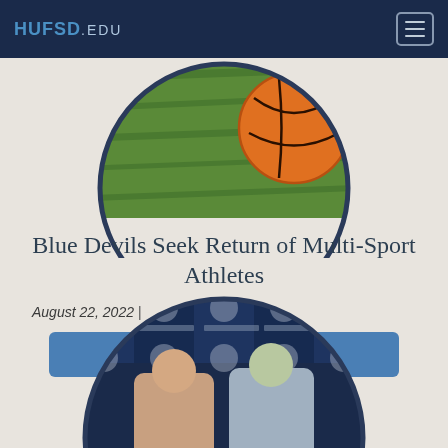HUFSD.EDU
[Figure (photo): Circular cropped photo showing a basketball on grass]
Blue Devils Seek Return of Multi-Sport Athletes
August 22, 2022 |
Read the Multi-Sport Athlete story
[Figure (photo): Circular cropped photo of people posing in front of Huntington Blue Devils branded step-and-repeat banner]